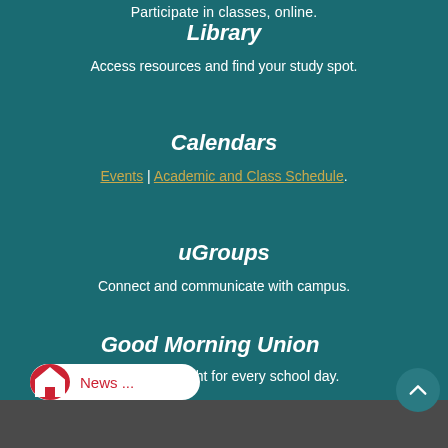Participate in classes, online.
Library
Access resources and find your study spot.
Calendars
Events | Academic and Class Schedule.
uGroups
Connect and communicate with campus.
Good Morning Union
A devotional thought for every school day.
News ...